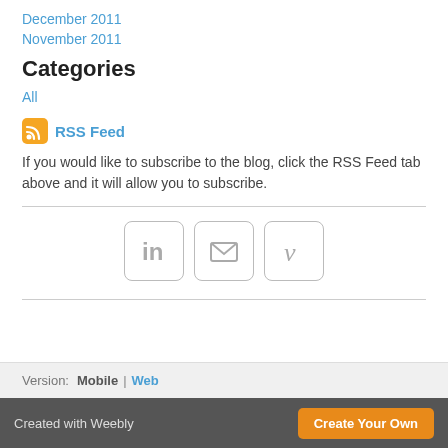December 2011
November 2011
Categories
All
RSS Feed
If you would like to subscribe to the blog, click the RSS Feed tab above and it will allow you to subscribe.
[Figure (infographic): Three social media icon buttons: LinkedIn (in), Email (envelope), Vimeo (v)]
Version: Mobile | Web
Created with Weebly  Create Your Own